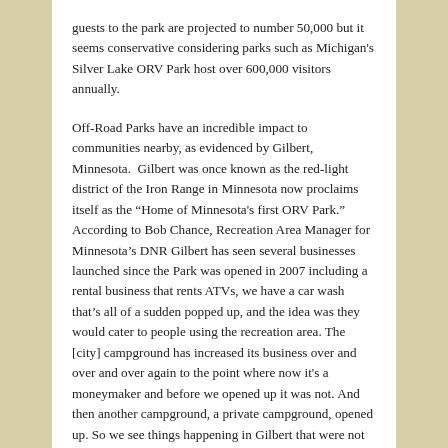guests to the park are projected to number 50,000 but it seems conservative considering parks such as Michigan's Silver Lake ORV Park host over 600,000 visitors annually.
Off-Road Parks have an incredible impact to communities nearby, as evidenced by Gilbert, Minnesota.  Gilbert was once known as the red-light district of the Iron Range in Minnesota now proclaims itself as the “Home of Minnesota's first ORV Park.”  According to Bob Chance, Recreation Area Manager for Minnesota’s DNR Gilbert has seen several businesses launched since the Park was opened in 2007 including a rental business that rents ATVs, we have a car wash that’s all of a sudden popped up, and the idea was they would cater to people using the recreation area. The [city] campground has increased its business over and over and over again to the point where now it's a moneymaker and before we opened up it was not. And then another campground, a private campground, opened up. So we see things happening in Gilbert that were not there before.”